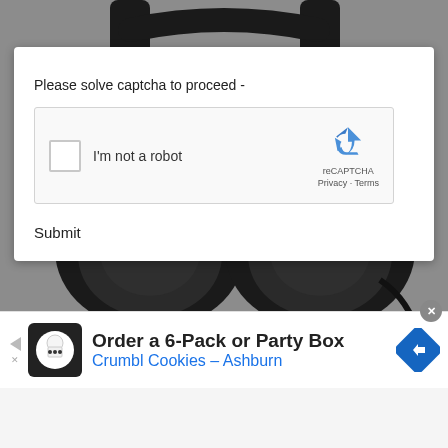[Figure (photo): Background photo of black over-ear headphones on a gray surface, seen from above showing the ear cups and headband]
Please solve captcha to proceed -
[Figure (screenshot): reCAPTCHA widget with checkbox labeled 'I'm not a robot' and reCAPTCHA logo with Privacy - Terms links]
Submit
[Figure (screenshot): Advertisement banner: 'Order a 6-Pack or Party Box' / 'Crumbl Cookies - Ashburn' with cookie logo and navigation arrow icon]